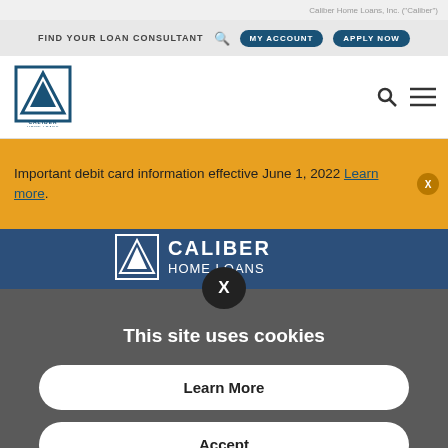Caliber Home Loans, Inc. ("Caliber")
FIND YOUR LOAN CONSULTANT  MY ACCOUNT  APPLY NOW
[Figure (logo): Caliber Home Loans logo with triangle/arrow icon and text CALIBER HOME LOANS]
Important debit card information effective June 1, 2022 Learn more.
[Figure (logo): Caliber Home Loans logo on blue banner background]
This site uses cookies
Learn More
Accept